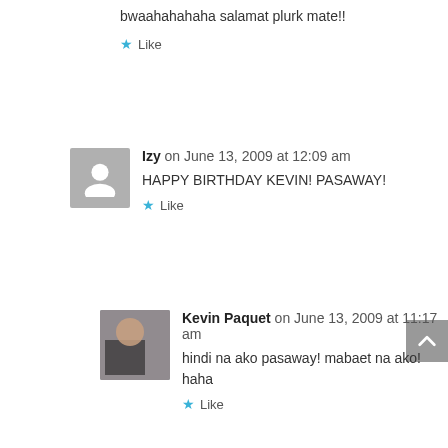bwaahahahaha salamat plurk mate!!
Like
Izy on June 13, 2009 at 12:09 am
HAPPY BIRTHDAY KEVIN! PASAWAY!
Like
Kevin Paquet on June 13, 2009 at 11:17 am
hindi na ako pasaway! mabaet na ako! haha
Like